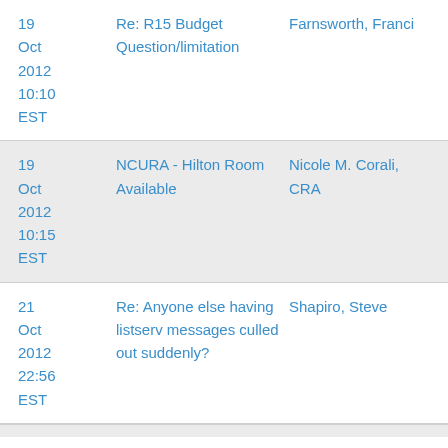| Date | Subject | Sender |
| --- | --- | --- |
| 19 Oct 2012 10:10 EST | Re: R15 Budget Question/limitation | Farnsworth, Franci |
| 19 Oct 2012 10:15 EST | NCURA - Hilton Room Available | Nicole M. Corali, CRA |
| 21 Oct 2012 22:56 EST | Re: Anyone else having listserv messages culled out suddenly? | Shapiro, Steve |